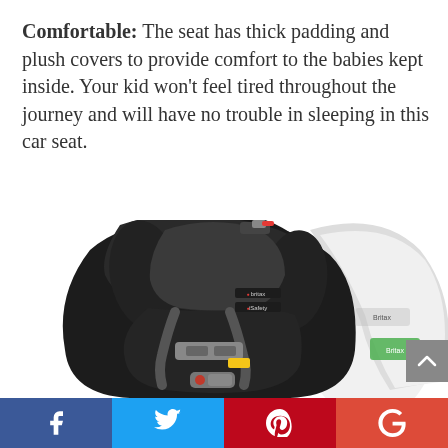Comfortable: The seat has thick padding and plush covers to provide comfort to the babies kept inside. Your kid won't feel tired throughout the journey and will have no trouble in sleeping in this car seat.
[Figure (photo): A black Britax convertible car seat with gray harness, padded headrest and side wings, white shell exterior, harness buckle and red button visible at lower center]
[Figure (infographic): Social media sharing bar with Facebook, Twitter, Pinterest, and Google+ buttons]